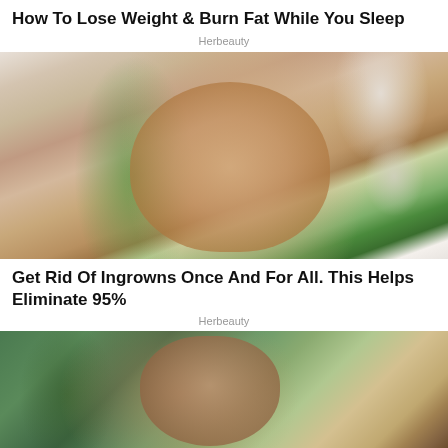How To Lose Weight & Burn Fat While You Sleep
Herbeauty
[Figure (photo): Person applying scrub or exfoliating their thigh/leg area with both hands, with a green plant visible in the background]
Get Rid Of Ingrowns Once And For All. This Helps Eliminate 95%
Herbeauty
[Figure (photo): Person with acne/skin condition on their face, partial view, with green background]